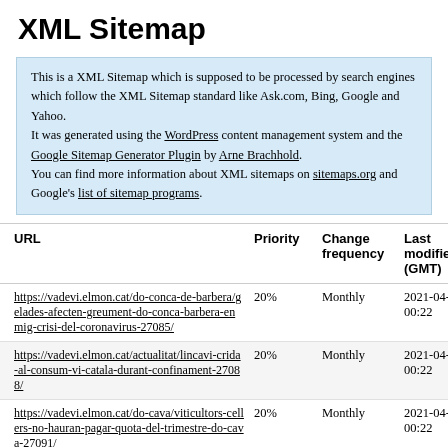XML Sitemap
This is a XML Sitemap which is supposed to be processed by search engines which follow the XML Sitemap standard like Ask.com, Bing, Google and Yahoo.
It was generated using the WordPress content management system and the Google Sitemap Generator Plugin by Arne Brachhold.
You can find more information about XML sitemaps on sitemaps.org and Google's list of sitemap programs.
| URL | Priority | Change frequency | Last modified (GMT) |
| --- | --- | --- | --- |
| https://vadevi.elmon.cat/do-conca-de-barbera/gelades-afecten-greument-do-conca-barbera-enmig-crisi-del-coronavirus-27085/ | 20% | Monthly | 2021-04-12 00:22 |
| https://vadevi.elmon.cat/actualitat/lincavi-crida-al-consum-vi-catala-durant-confinament-27088/ | 20% | Monthly | 2021-04-12 00:22 |
| https://vadevi.elmon.cat/do-cava/viticultors-cellers-no-hauran-pagar-quota-del-trimestre-do-cava-27091/ | 20% | Monthly | 2021-04-12 00:22 |
| https://vadevi.elmon.cat/do-cava/coronavirus-no-impedeix-que-agusti-torello-mata-embotelli-millor-collita-historia-27093/ | 20% | Monthly | 2021-04-12 00:22 |